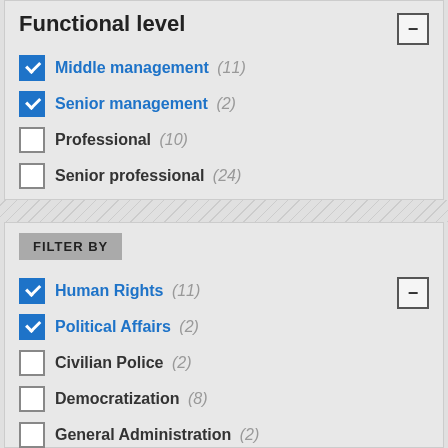Functional level
Middle management (11) — checked
Senior management (2) — checked
Professional (10) — unchecked
Senior professional (24) — unchecked
FILTER BY
Human Rights (11) — checked
Political Affairs (2) — checked
Civilian Police (2) — unchecked
Democratization (8) — unchecked
General Administration (2) — unchecked
General Staff / Monitoring Functions (2) — unchecked
Rule of Law (4) — unchecked